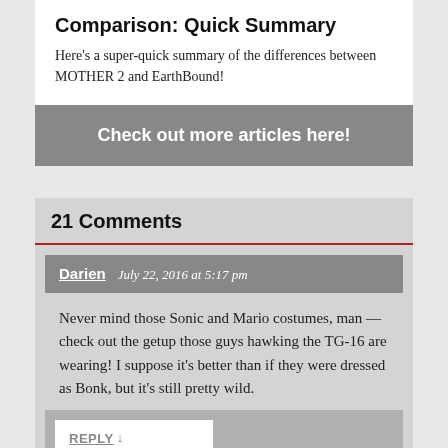Comparison: Quick Summary
Here's a super-quick summary of the differences between MOTHER 2 and EarthBound!
Check out more articles here!
21 Comments
Darien  July 22, 2016 at 5:17 pm
Never mind those Sonic and Mario costumes, man — check out the getup those guys hawking the TG-16 are wearing! I suppose it's better than if they were dressed as Bonk, but it's still pretty wild.
REPLY ↓